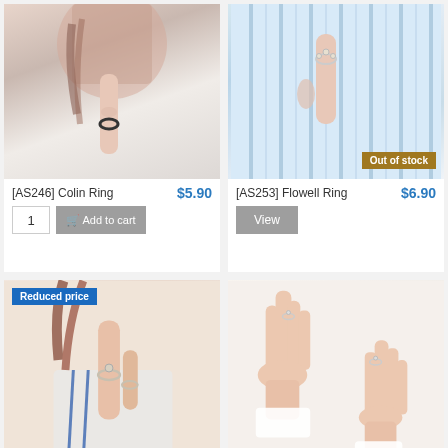[Figure (photo): Woman holding up finger with dark ring, close-up face and hand]
[AS246] Colin Ring
$5.90
[Figure (photo): Hand wearing floral ring against blue striped fabric background, Out of stock badge]
Out of stock
[AS253] Flowell Ring
$6.90
Reduced price
[Figure (photo): Woman wearing two rings on hand, casual striped clothing, beige background]
[Figure (photo): Two hands raised showing rings on fingers, white background]